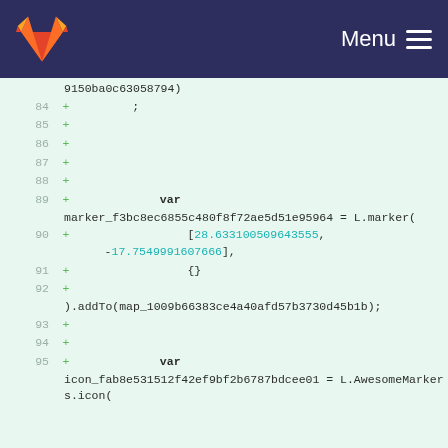Menu
[Figure (screenshot): GitLab diff view showing code lines 84-95 with added lines (green + markers). Code includes JavaScript for map markers with coordinates and L.AwesomeMarkers.icon calls.]